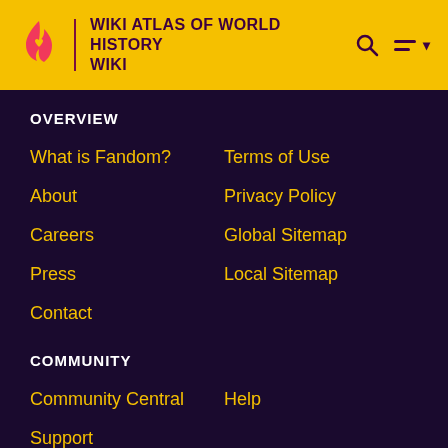WIKI ATLAS OF WORLD HISTORY WIKI
OVERVIEW
What is Fandom?
Terms of Use
About
Privacy Policy
Careers
Global Sitemap
Press
Local Sitemap
Contact
COMMUNITY
Community Central
Help
Support